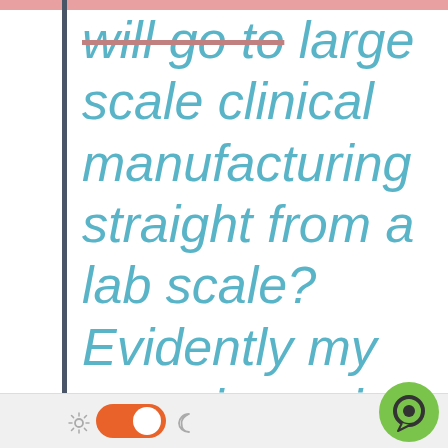will go to large scale clinical manufacturing straight from a lab scale? Evidently my experience in biotech/pharma is very different from yours.